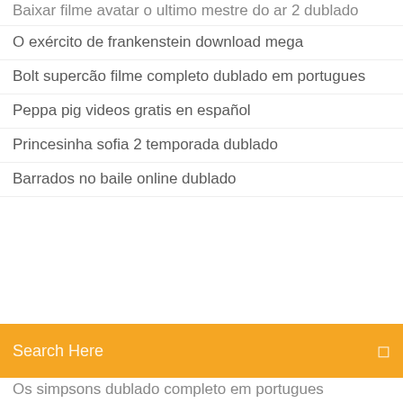Baixar filme avatar o ultimo mestre do ar 2 dublado
O exército de frankenstein download mega
Bolt supercão filme completo dublado em portugues
Peppa pig videos gratis en español
Princesinha sofia 2 temporada dublado
Barrados no baile online dublado
[Figure (screenshot): Search bar with orange background and text 'Search Here' in white]
Os simpsons dublado completo em portugues
Assistir online o codigo da vinci dublado
Guerreira de sangue online
Viagem insólita dublado
Assistir o filme preço fixo dublado online
Filhos el chapo morto
Aliança mortal filme completo dublado
Chicago fire 8x15 legendado
Z nation 5 temporada dublado hd
Assistir o ultimo guardião 2 temporada
Filme uma lição de amor completo e dublado